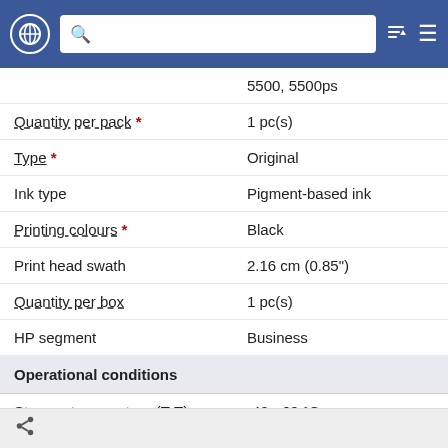Navigation bar with globe icon, search bar, filter and menu icons
| Property | Value |
| --- | --- |
|  | 5500, 5500ps |
| Quantity per pack * | 1 pc(s) |
| Type * | Original |
| Ink type | Pigment-based ink |
| Printing colours * | Black |
| Print head swath | 2.16 cm (0.85") |
| Quantity per box | 1 pc(s) |
| HP segment | Business |
| Operational conditions |  |
| Storage temperature (T-T) | -40 - 60 °C |
| Weight & dimensions |  |
| Width | 320 mm |
| Depth | 88.9 mm |
| Height | 114.3 mm |
| Package width | 114.3 |
Share